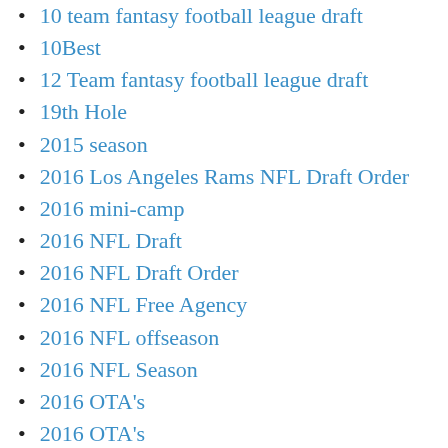10 team fantasy football league draft
10Best
12 Team fantasy football league draft
19th Hole
2015 season
2016 Los Angeles Rams NFL Draft Order
2016 mini-camp
2016 NFL Draft
2016 NFL Draft Order
2016 NFL Free Agency
2016 NFL offseason
2016 NFL Season
2016 OTA's
2016 OTA's
2016 OTA's
2016 OTA's
2016 OTA's